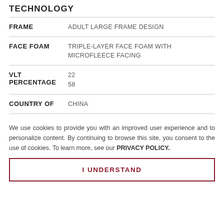TECHNOLOGY
| Attribute | Value |
| --- | --- |
| FRAME | ADULT LARGE FRAME DESIGN |
| FACE FOAM | TRIPLE-LAYER FACE FOAM WITH MICROFLEECE FACING |
| VLT PERCENTAGE | 22
58 |
| COUNTRY OF | CHINA |
We use cookies to provide you with an improved user experience and to personalize content. By continuing to browse this site, you consent to the use of cookies. To learn more, see our PRIVACY POLICY.
I UNDERSTAND